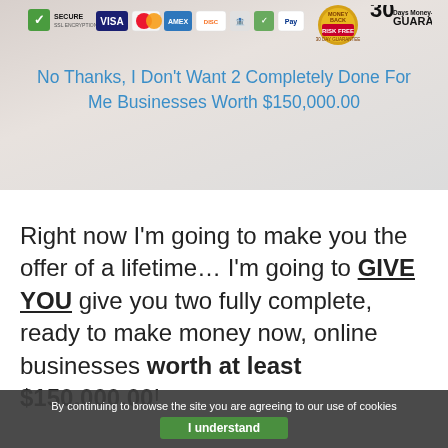[Figure (infographic): Security badges row: green padlock Secure SSL Encryption, Visa, Mastercard, American Express, Discover, and other payment icons, Risk Free Money Back 30 Day Guarantee badge, 30 Days Money-Back Guarantee text]
No Thanks, I Don't Want 2 Completely Done For Me Businesses Worth $150,000.00
Right now I’m going to make you the offer of a lifetime… I’m going to GIVE YOU give you two fully complete, ready to make money now, online businesses worth at least $150,000.00!
By continuing to browse the site you are agreeing to our use of cookies
I understand